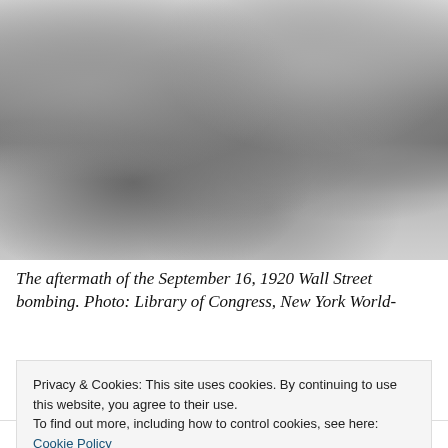[Figure (photo): Black and white historical photograph showing the aftermath of the September 16, 1920 Wall Street bombing. A large crowd of people, many in early 20th century attire including hats and coats, stand near the steps of a building with columns. Debris and bodies are visible on the ground in the foreground.]
The aftermath of the September 16, 1920 Wall Street bombing. Photo: Library of Congress, New York World-
Privacy & Cookies: This site uses cookies. By continuing to use this website, you agree to their use.
To find out more, including how to control cookies, see here: Cookie Policy